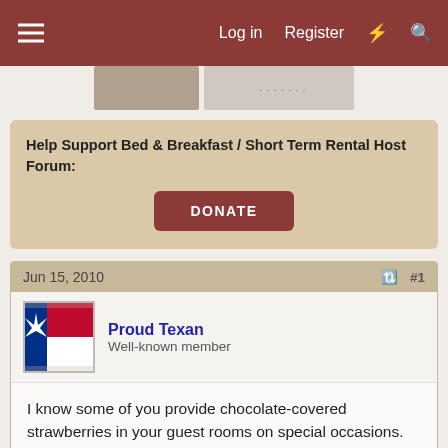Log in  Register
Help Support Bed & Breakfast / Short Term Rental Host Forum:
DONATE
Jun 15, 2010  #1
Proud Texan
Well-known member
I know some of you provide chocolate-covered strawberries in your guest rooms on special occasions. What if any problems have you encountered with them? Does chocolate readily wash out of bed linens? We are attempting to put together a romance package, but keep running into a brick wall because everything we think of has the potential to create another mess or